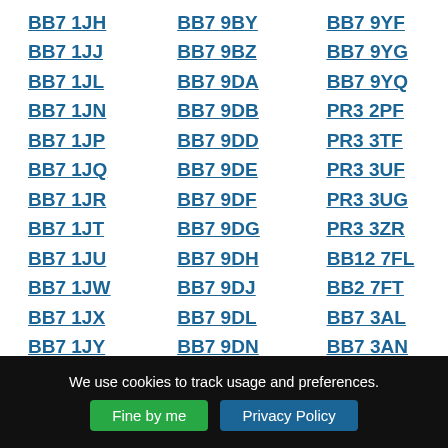BB7 1JH
BB7 9BY
BB7 9YF
BB7 1JJ
BB7 9BZ
BB7 9YG
BB7 1JL
BB7 9DA
BB7 9YQ
BB7 1JN
BB7 9DB
PR3 2PF
BB7 1JP
BB7 9DD
PR3 3TF
BB7 1JQ
BB7 9DE
PR3 3UF
BB7 1JR
BB7 9DF
PR3 3UG
BB7 1JT
BB7 9DG
PR3 3ZR
BB7 1JU
BB7 9DH
BB12 7FL
BB7 1JW
BB7 9DJ
BB2 7FT
BB7 1JX
BB7 9DL
BB7 3AL
BB7 1JY
BB7 9DN
BB7 3AN
We use cookies to track usage and preferences.
Fine by me
Privacy Policy